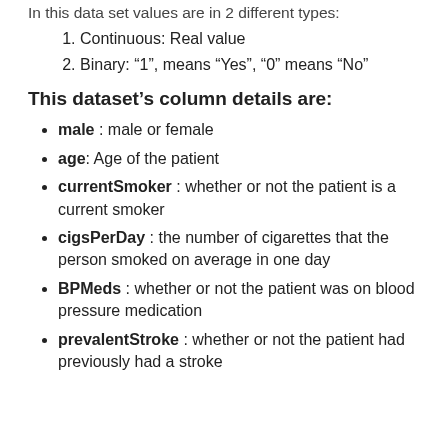In this data set values are in 2 different types:
Continuous: Real value
Binary: “1”, means “Yes”, “0” means “No”
This dataset’s column details are:
male : male or female
age: Age of the patient
currentSmoker : whether or not the patient is a current smoker
cigsPerDay : the number of cigarettes that the person smoked on average in one day
BPMeds : whether or not the patient was on blood pressure medication
prevalentStroke : whether or not the patient had previously had a stroke